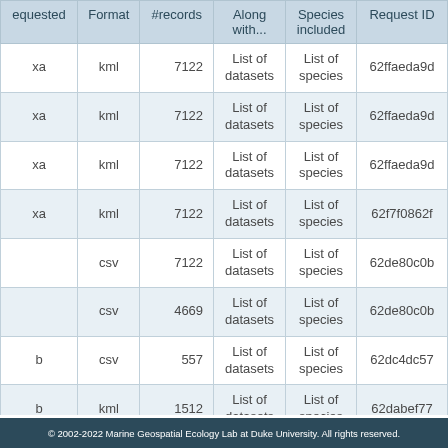| equested | Format | #records | Along with... | Species included | Request ID |
| --- | --- | --- | --- | --- | --- |
| xa | kml | 7122 | List of datasets | List of species | 62ffaeda9d |
| xa | kml | 7122 | List of datasets | List of species | 62ffaeda9d |
| xa | kml | 7122 | List of datasets | List of species | 62ffaeda9d |
| xa | kml | 7122 | List of datasets | List of species | 62f7f0862f |
|  | csv | 7122 | List of datasets | List of species | 62de80c0b |
|  | csv | 4669 | List of datasets | List of species | 62de80c0b |
| b | csv | 557 | List of datasets | List of species | 62dc4dc57 |
| b | kml | 1512 | List of datasets | List of species | 62dabef77 |
| b | kml | 1512 | List of datasets | List of species | 62dabef77 |
© 2002-2022 Marine Geospatial Ecology Lab at Duke University. All rights reserved.